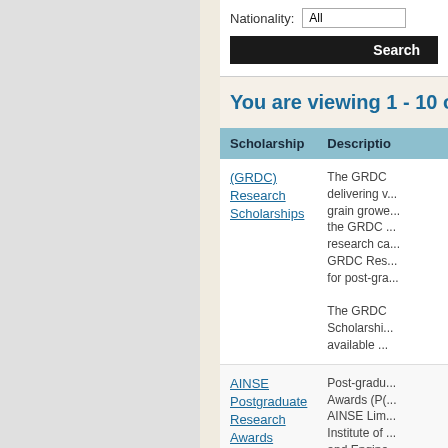Nationality: All
Search
You are viewing 1 - 10 o...
| Scholarship | Description |
| --- | --- |
| (GRDC) Research Scholarships | The GRDC delivering v... grain growe... the GRDC ... research ca... GRDC Res... for post-gra...

The GRDC Scholarship... available ... |
| AINSE Postgraduate Research Awards | Post-gradu... Awards (PO... AINSE Lim... Institute of ... and Engine... qualified pe... undertake... |